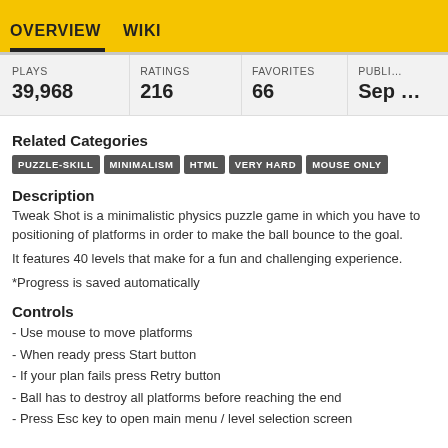OVERVIEW   WIKI
| PLAYS | RATINGS | FAVORITES | PUBLI… |
| --- | --- | --- | --- |
| 39,968 | 216 | 66 | Sep … |
Related Categories
PUZZLE-SKILL  MINIMALISM  HTML  VERY HARD  MOUSE ONLY
Description
Tweak Shot is a minimalistic physics puzzle game in which you have to positioning of platforms in order to make the ball bounce to the goal.
It features 40 levels that make for a fun and challenging experience.
*Progress is saved automatically
Controls
- Use mouse to move platforms
- When ready press Start button
- If your plan fails press Retry button
- Ball has to destroy all platforms before reaching the end
- Press Esc key to open main menu / level selection screen